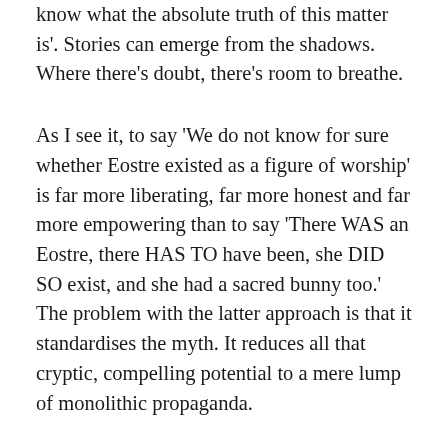knowledge. Let us admit it: 'We do not know what the absolute truth of this matter is'. Stories can emerge from the shadows. Where there's doubt, there's room to breathe.
As I see it, to say 'We do not know for sure whether Eostre existed as a figure of worship' is far more liberating, far more honest and far more empowering than to say 'There WAS an Eostre, there HAS TO have been, she DID SO exist, and she had a sacred bunny too.' The problem with the latter approach is that it standardises the myth. It reduces all that cryptic, compelling potential to a mere lump of monolithic propaganda.
The discipline of the historian, as I see it, is